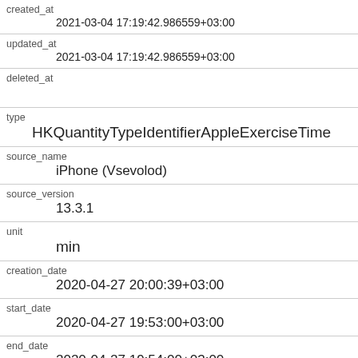| created_at | 2021-03-04 17:19:42.986559+03:00 |
| updated_at | 2021-03-04 17:19:42.986559+03:00 |
| deleted_at |  |
| type | HKQuantityTypeIdentifierAppleExerciseTime |
| source_name | iPhone (Vsevolod) |
| source_version | 13.3.1 |
| unit | min |
| creation_date | 2020-04-27 20:00:39+03:00 |
| start_date | 2020-04-27 19:53:00+03:00 |
| end_date | 2020-04-27 19:54:00+03:00 |